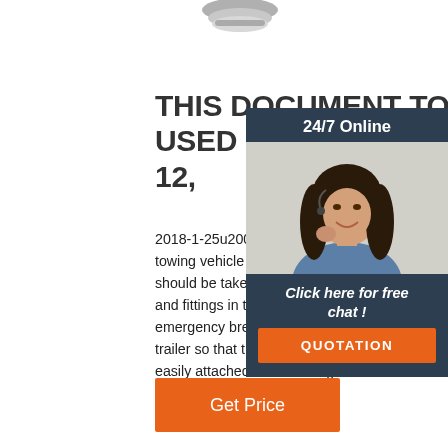[Figure (photo): Partial view of a product (appears to be a brake fitting/connector) at the top of the page, partially cropped]
THIS DOCUMENT TO BE USED FOR HBA-10, HB 12,
2018-1-25u2002·u2002routed directly to the towing vehicle and trailer brakes. Special care should be taken to minimize the number of and fittings in the brake line circuits. 3. An emergency breakaway kit must be located on the trailer so that the trailer breakaway cable can be easily attached to the towing vehicle. 4.
[Figure (photo): Chat widget overlay on the right side showing a woman with a headset, with '24/7 Online' header, 'Click here for free chat!' text, and an orange QUOTATION button]
[Figure (other): Orange 'Get Price' button at the bottom left]